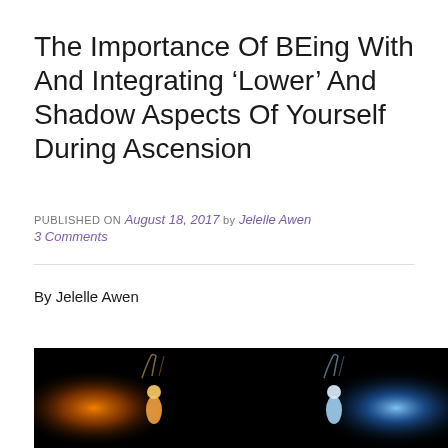The Importance Of BEing With And Integrating ‘Lower’ And Shadow Aspects Of Yourself During Ascension
PUBLISHED ON August 18, 2017 by Jelelle Awen
3 Comments
By Jelelle Awen
[Figure (photo): Dark background image showing two glowing silhouettes — one orange/amber on the left and one blue/white on the right — against a black background, depicting energy or light beings.]